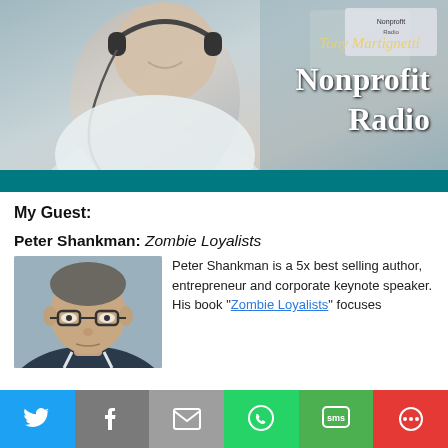[Figure (photo): Tony Martignetti Nonprofit Radio banner image showing a man wearing headphones at a radio studio desk, with text 'Tony Martignetti Nonprofit Radio' overlaid]
My Guest:
Peter Shankman: Zombie Loyalists
[Figure (photo): Headshot photo of Peter Shankman, a man with short hair wearing glasses]
Peter Shankman is a 5x best selling author, entrepreneur and corporate keynote speaker. His book “Zombie Loyalists” focuses